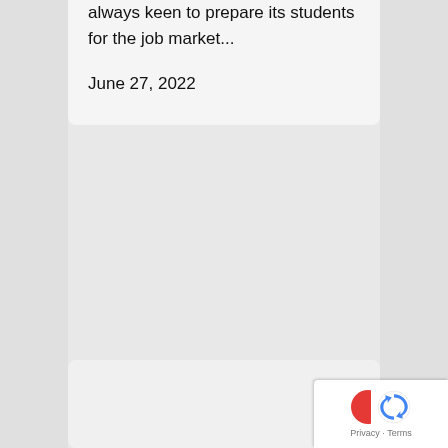always keen to prepare its students for the job market...
June 27, 2022
[Figure (other): reCAPTCHA badge with Privacy and Terms links in bottom right corner]